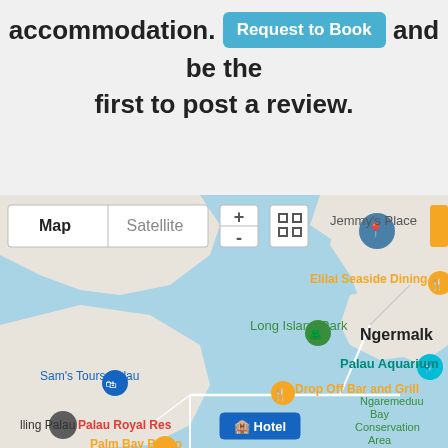accommodation. [Request to Book button] and be the first to post a review.
[Figure (map): Google Maps view showing Palau area with markers for: Jemmy's Place, Elilai Seaside Dining, Long Island Park, Ngermalk, Palau Aquarium, Sam's Tours Palau, Drop Off Bar and Grill, Hotel (highlighted), Ngaremeduu Bay Conservation Area, Palau Royal Resort, Palm Bay Bistro, and ling Palau. Map/Satellite toggle buttons and zoom controls visible.]